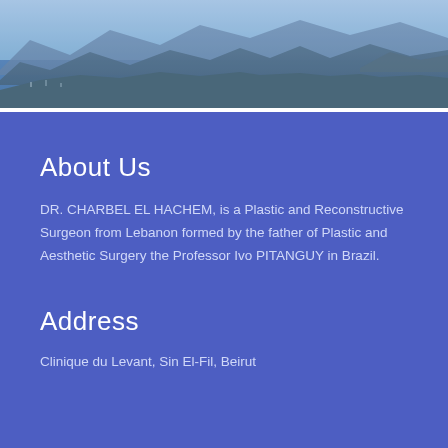[Figure (photo): Aerial coastal landscape photograph showing mountains, sea, and a city harbor in blue tones — likely Beirut, Lebanon]
About Us
DR. CHARBEL EL HACHEM, is a Plastic and Reconstructive Surgeon from Lebanon formed by the father of Plastic and Aesthetic Surgery the Professor Ivo PITANGUY in Brazil.
Address
Clinique du Levant, Sin El-Fil, Beirut